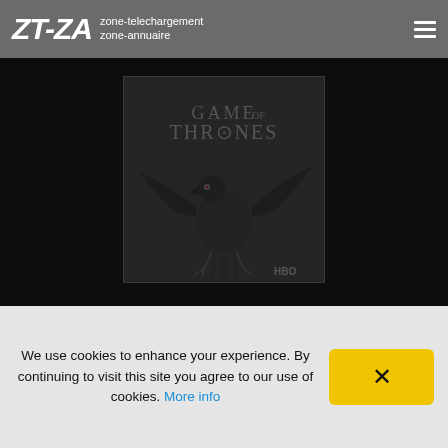ZT-ZA zone-telechargement zone-annuaire
[Figure (screenshot): Game of Thrones HBO poster showing a dark raven/three-eyed raven with spread wings against a dark background, with 'Game of Thrones' text and HBO logo]
Game of Thrones, Season 7 Streaming
Game of Thrones
We use cookies to enhance your experience. By continuing to visit this site you agree to our use of cookies. More info